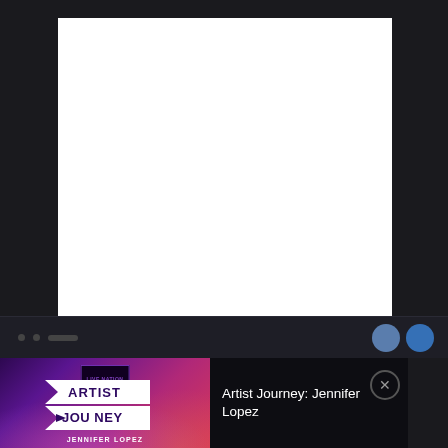[Figure (screenshot): White blank content panel on dark background, representing a media player or browser view area]
[Figure (screenshot): Podcast mini-player card showing 'Artist Journey: Jennifer Lopez' by Live Nation, with colorful purple-pink gradient artwork and close button]
Artist Journey: Jennifer Lopez